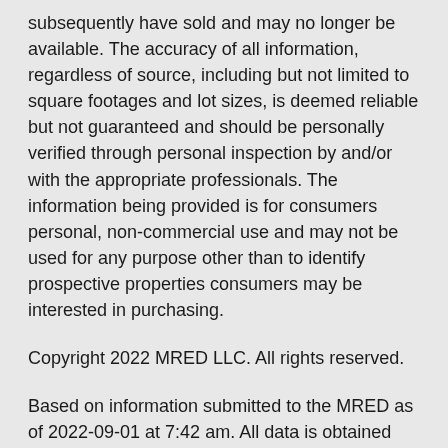subsequently have sold and may no longer be available. The accuracy of all information, regardless of source, including but not limited to square footages and lot sizes, is deemed reliable but not guaranteed and should be personally verified through personal inspection by and/or with the appropriate professionals. The information being provided is for consumers personal, non-commercial use and may not be used for any purpose other than to identify prospective properties consumers may be interested in purchasing.
Copyright 2022 MRED LLC. All rights reserved.
Based on information submitted to the MRED as of 2022-09-01 at 7:42 am. All data is obtained from various sources and has not been, and will not be, verified by broker or MRED. MRED supplied Open House information is subject to change without notice. All information should be independently reviewed and verified for accuracy. Properties may or may not be listed by the office/agent presenting the information.